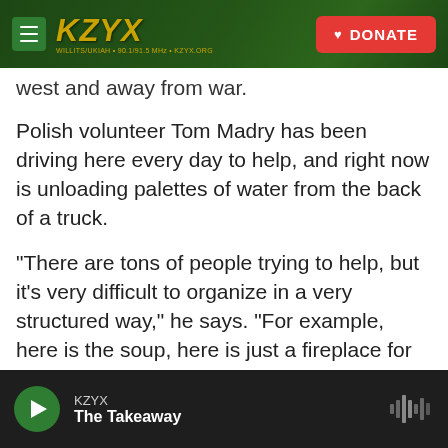KZYX — DONATE
west and away from war.
Polish volunteer Tom Madry has been driving here every day to help, and right now is unloading palettes of water from the back of a truck.
"There are tons of people trying to help, but it's very difficult to organize in a very structured way," he says. "For example, here is the soup, here is just a fireplace for refugees to warm up, here is just a pile of trash."
"It could be better organized, but I have no idea how to organize it better."
KZYX — The Takeaway